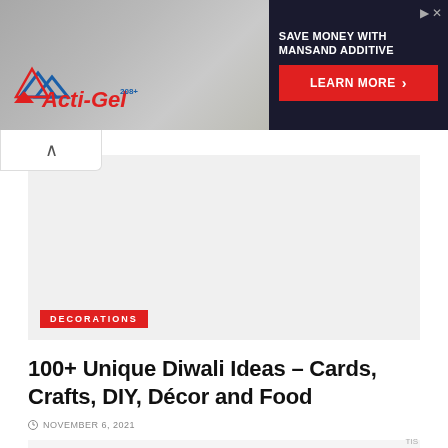[Figure (screenshot): Advertisement banner for Acti-Gel product with worker laying concrete on left side and 'SAVE MONEY WITH MANSAND ADDITIVE' text with red LEARN MORE button on dark right panel]
[Figure (screenshot): Gray placeholder image area for article with red DECORATIONS category tag]
100+ Unique Diwali Ideas – Cards, Crafts, DIY, Décor and Food
NOVEMBER 6, 2021
[Figure (screenshot): Bottom gray placeholder content area]